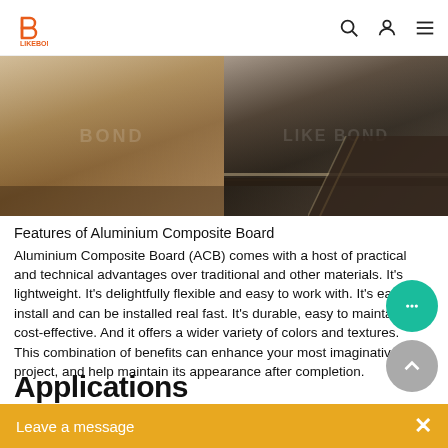LIKEBOND
[Figure (photo): Two photos of Aluminium Composite Board panels side by side. Left: bronze/golden colored flat ACB panel. Right: dark brown/bronze ACB panel shown at an angle revealing edge profile and layered construction.]
Features of Aluminium Composite Board
Aluminium Composite Board (ACB) comes with a host of practical and technical advantages over traditional and other materials. It's lightweight. It's delightfully flexible and easy to work with. It's easy to install and can be installed real fast. It's durable, easy to maintain and cost-effective. And it offers a wider variety of colors and textures.
This combination of benefits can enhance your most imaginative project, and help maintain its appearance after completion.
Applications